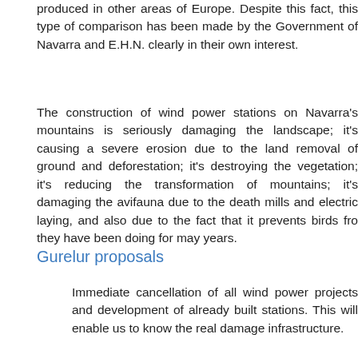produced in other areas of Europe. Despite this fact, this type of comparison has been made by the Government of Navarra and E.H.N. clearly in their own interest.
The construction of wind power stations on Navarra's mountains is seriously damaging the landscape; it's causing a severe erosion due to the land removal of ground and deforestation; it's destroying the vegetation; it's reducing the transformation of mountains; it's damaging the avifauna due to the death mills and electric laying, and also due to the fact that it prevents birds from they have been doing for may years.
Gurelur proposals
Immediate cancellation of all wind power projects and development of already built stations. This will enable us to know the real damage infrastructure.
Getting rid of the central model which is nowadays being implemented windmills and adapting the centrals to the orography, to the ecological values –among other criteria- and not to the enrichment of companies mountainous areas, although this implies lower productivity.
Elaboration of strict studies about environmental impact. Studies b acceptable due to several reasons: Firstly because there hasn't been